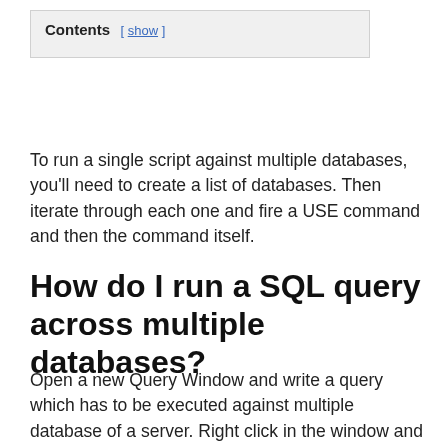Contents [ show ]
To run a single script against multiple databases, you'll need to create a list of databases. Then iterate through each one and fire a USE command and then the command itself.
How do I run a SQL query across multiple databases?
Open a new Query Window and write a query which has to be executed against multiple database of a server. Right click in the window and Select an option “Run On Multiple Targets” as shown below. This will